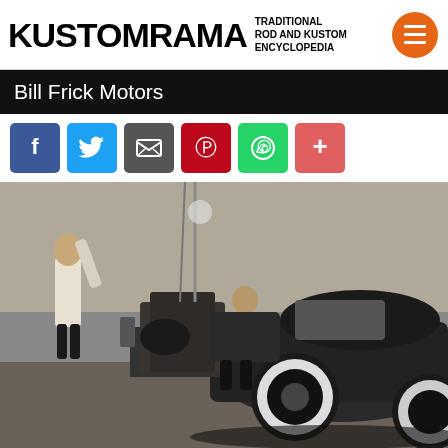KUSTOMRAMA TRADITIONAL ROD AND KUSTOM ENCYCLOPEDIA
Bill Frick Motors
[Figure (infographic): Social sharing buttons: Facebook, Twitter, Email, Pinterest, WhatsApp, More (+)]
[Figure (photo): Black and white vintage photograph of two mechanics working on a car engine in a shop. One man stands holding chains attached to an engine being hoisted, another leans over the open engine bay of a classic early 1950s automobile with its hood removed. The car has whitewall tires visible.]